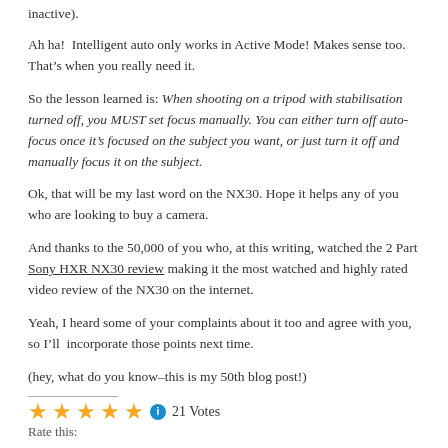inactive).
Ah ha!  Intelligent auto only works in Active Mode! Makes sense too. That’s when you really need it.
So the lesson learned is: When shooting on a tripod with stabilisation turned off, you MUST set focus manually. You can either turn off auto-focus once it’s focused on the subject you want, or just turn it off and manually focus it on the subject.
Ok, that will be my last word on the NX30. Hope it helps any of you who are looking to buy a camera.
And thanks to the 50,000 of you who, at this writing, watched the 2 Part Sony HXR NX30 review making it the most watched and highly rated video review of the NX30 on the internet.
Yeah, I heard some of your complaints about it too and agree with you, so I’ll  incorporate those points next time.
(hey, what do you know–this is my 50th blog post!)
Rate this:  21 Votes